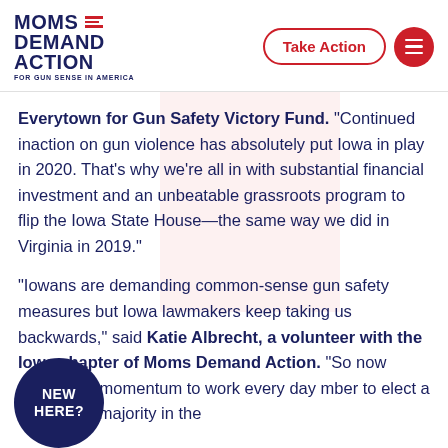Moms Demand Action for Gun Sense in America
Everytown for Gun Safety Victory Fund. "Continued inaction on gun violence has absolutely put Iowa in play in 2020. That's why we're all in with substantial financial investment and an unbeatable grassroots program to flip the Iowa State House—the same way we did in Virginia in 2019."
"Iowans are demanding common-sense gun safety measures but Iowa lawmakers keep taking us backwards," said Katie Albrecht, a volunteer with the Iowa chapter of Moms Demand Action. "So now [grassroots momentum to work every day] [mber to elect a gun sense majority in the]